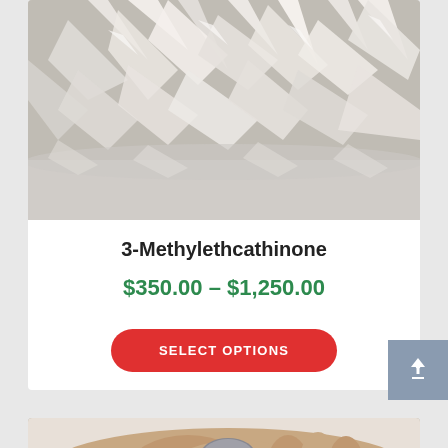[Figure (photo): Close-up photo of white crystalline substance (3-Methylethcathinone crystals) on a white surface]
3-Methylethcathinone
$350.00 – $1,250.00
SELECT OPTIONS
[Figure (photo): Partial photo of a hand holding a small object, bottom of page]